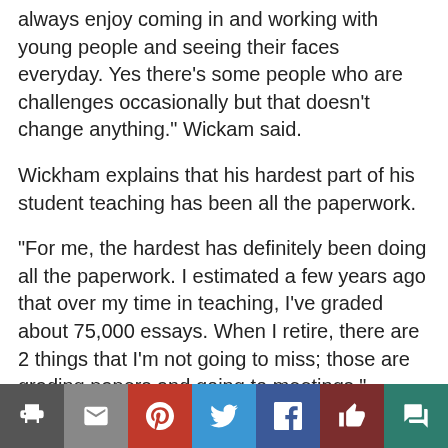always enjoy coming in and working with young people and seeing their faces everyday. Yes there’s some people who are challenges occasionally but that doesn’t change anything.” Wickam said.
Wickham explains that his hardest part of his student teaching has been all the paperwork.
“For me, the hardest has definitely been doing all the paperwork. I estimated a few years ago that over my time in teaching, I’ve graded about 75,000 essays. When I retire, there are 2 things that I’m not going to miss; those are grading papers and going to meetings.” Wickham said.
Wickham said this year of teaching has gone pretty well, all things considered.
Social sharing bar: print, email, pinterest, twitter, facebook, like, comment